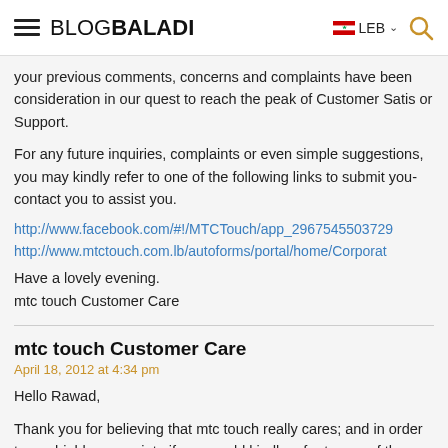BLOGBALADI | LEB
your previous comments, concerns and complaints have been consideration in our quest to reach the peak of Customer Satisfaction or Support.
For any future inquiries, complaints or even simple suggestions, you may kindly refer to one of the following links to submit your contact you to assist you.
http://www.facebook.com/#!/MTCTouch/app_29675455037290
http://www.mtctouch.com.lb/autoforms/portal/home/Corporate
Have a lovely evening.
mtc touch Customer Care
mtc touch Customer Care
April 18, 2012 at 4:34 pm
Hello Rawad,
Thank you for believing that mtc touch really cares; and in order to prove highly appreciate if you would kindly refer to one of the following links